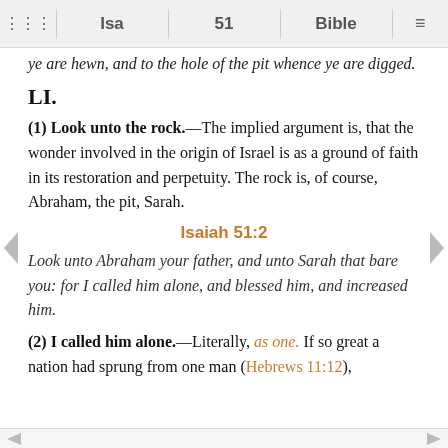⠿   Isa   |   51   |   Bible   ≡
ye are hewn, and to the hole of the pit whence ye are digged.
LI.
(1) Look unto the rock.—The implied argument is, that the wonder involved in the origin of Israel is as a ground of faith in its restoration and perpetuity. The rock is, of course, Abraham, the pit, Sarah.
Isaiah 51:2
Look unto Abraham your father, and unto Sarah that bare you: for I called him alone, and blessed him, and increased him.
(2) I called him alone.—Literally, as one. If so great a nation had sprung from one man (Hebrews 11:12),